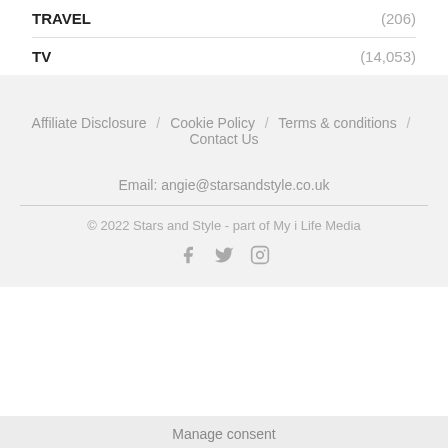TRAVEL (206)
TV (14,053)
Affiliate Disclosure / Cookie Policy / Terms & conditions / Contact Us
Email: angie@starsandstyle.co.uk
© 2022 Stars and Style - part of My i Life Media
[Figure (illustration): Social media icons: Facebook, Twitter, Instagram]
Manage consent